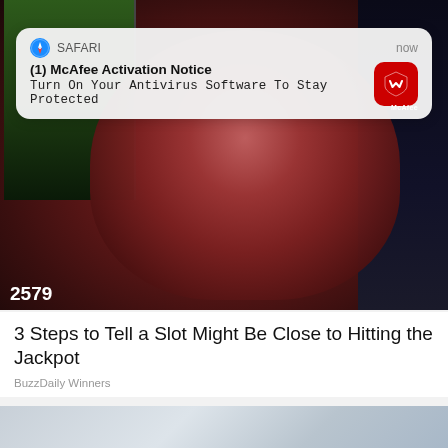[Figure (photo): A smiling older man in a dark red/maroon shirt photographed in front of casino slot machines. A green slot machine screen is visible on the left with the number 2579. Dark background on right.]
[Figure (screenshot): Safari browser push notification overlay reading: (1) McAfee Activation Notice - Turn On Your Antivirus Software To Stay Protected, with McAfee red icon on right and 'now' timestamp.]
3 Steps to Tell a Slot Might Be Close to Hitting the Jackpot
BuzzDaily Winners
[Figure (photo): Bottom partial photo, appears to show coins or money, light grey-blue tones, cropped at bottom of page.]